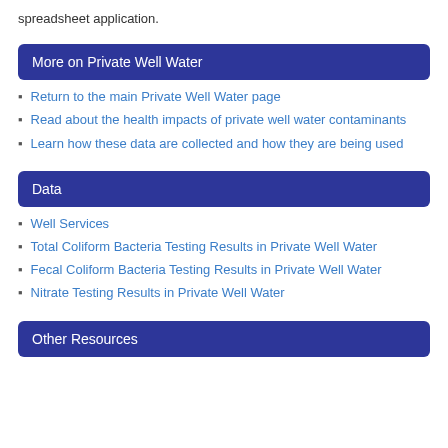spreadsheet application.
More on Private Well Water
Return to the main Private Well Water page
Read about the health impacts of private well water contaminants
Learn how these data are collected and how they are being used
Data
Well Services
Total Coliform Bacteria Testing Results in Private Well Water
Fecal Coliform Bacteria Testing Results in Private Well Water
Nitrate Testing Results in Private Well Water
Other Resources